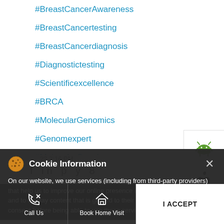#BreastCancerAwareness
#BreastCancertesting
#BreastCancerdiagnosis
#Diagnostictesting
#Scientificexcellence
#BRCA
#MolecularGenomics
#Genomexpert
#MolecularOncology
[Figure (screenshot): Android app store button icon]
[Figure (screenshot): Apple App Store button icon]
Cookie Information
On our website, we use services (including from third-party providers) that help us to improve our online presence (optimization of website) and to display content that is geared to their interests. We need your consent before being able to use these services.
Call Us | Book Home Visit | I ACCEPT | Directions